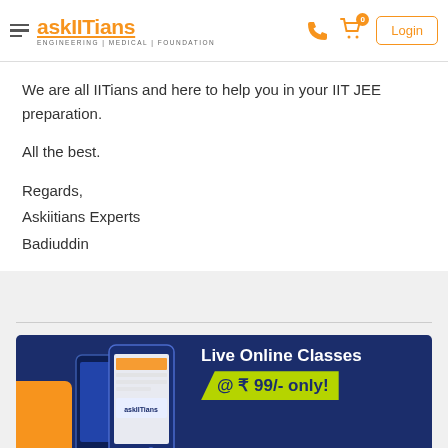askIITians — ENGINEERING | MEDICAL | FOUNDATION
We are all IITians and here to help you in your IIT JEE preparation.
All the best.
Regards,
Askiitians Experts
Badiuddin
[Figure (infographic): Live Online Classes @ ₹ 99/- only! Small Efforts, Great Results — askIITians app advertisement banner with phone images and Google Play badge on dark navy background with orange accent block]